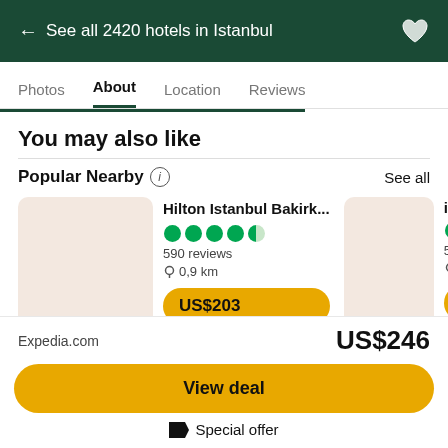← See all 2420 hotels in Istanbul
Photos   About   Location   Reviews
You may also like
Popular Nearby
See all
Hilton Istanbul Bakirk...
590 reviews
0,9 km
US$203
ibis Ista...
575 revie...
0,4 km
US$8...
Expedia.com
US$246
View deal
Special offer